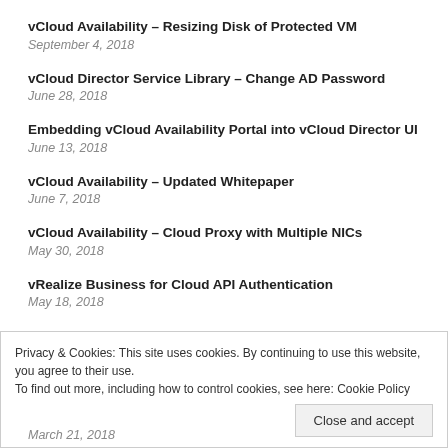vCloud Availability – Resizing Disk of Protected VM
September 4, 2018
vCloud Director Service Library – Change AD Password
June 28, 2018
Embedding vCloud Availability Portal into vCloud Director UI
June 13, 2018
vCloud Availability – Updated Whitepaper
June 7, 2018
vCloud Availability – Cloud Proxy with Multiple NICs
May 30, 2018
vRealize Business for Cloud API Authentication
May 18, 2018
vCloud Director Federation with VMware Identity Manager
Privacy & Cookies: This site uses cookies. By continuing to use this website, you agree to their use.
To find out more, including how to control cookies, see here: Cookie Policy
Close and accept
March 21, 2018